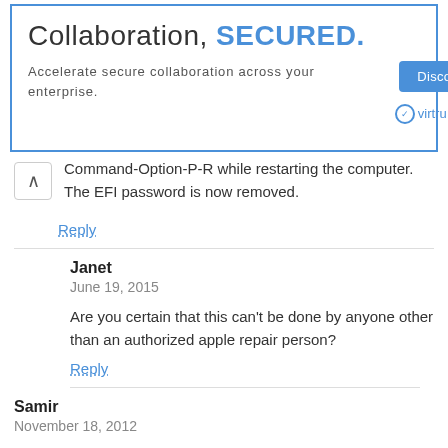[Figure (screenshot): Advertisement banner: 'Collaboration, SECURED. Accelerate secure collaboration across your enterprise.' with Discover How button, virtru and Google logos]
Command-Option-P-R while restarting the computer. The EFI password is now removed.
Reply
Janet
June 19, 2015

Are you certain that this can't be done by anyone other than an authorized apple repair person?

Reply
Samir
November 18, 2012

No, nothing at all....

I really don't know what to do to solve this problem.

can someone help me?!?!?!

Samir